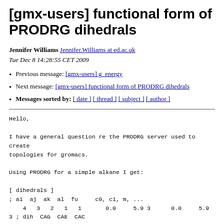[gmx-users] functional form of PRODRG dihedrals
Jennifer Williams Jennifer.Williams at ed.ac.uk
Tue Dec 8 14:28:55 CET 2009
Previous message: [gmx-users] g_energy
Next message: [gmx-users] functional form of PRODRG dihedrals
Messages sorted by: [ date ] [ thread ] [ subject ] [ author ]
Hello,

I have a general question re the PRODRG server used to create
topologies for gromacs.

Using PRODRG for a simple alkane I get:

[ dihedrals ]
; ai  aj  ak  al  fu     c0, c1, m, ...
    4   3   2   1   1       0.0     5.9 3      0.0     5.9
3 ; dih  CAG  CAE  CAC